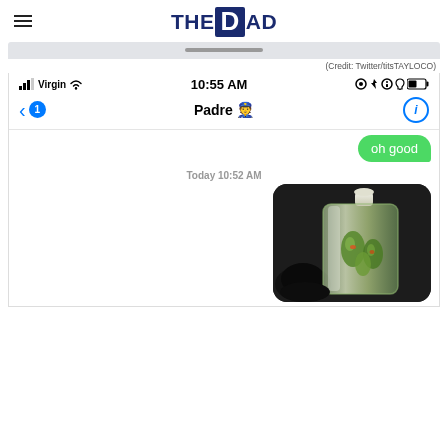THE DAD
[Figure (screenshot): iPhone text message screenshot showing conversation with contact 'Padre' with police officer emoji. Status bar shows Virgin network, 10:55 AM. A sent green bubble says 'oh good'. Below shows 'Today 10:52 AM' timestamp and a photo of an olive oil bottle with olives.]
(Credit: Twitter/titsTAYLOCO)